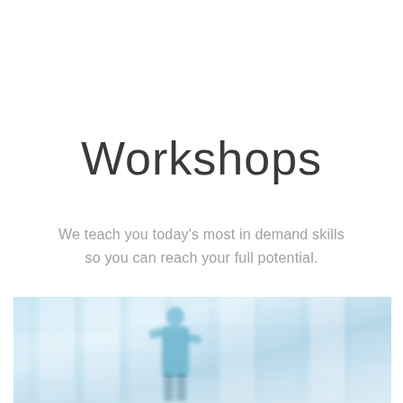Workshops
We teach you today's most in demand skills so you can reach your full potential.
[Figure (photo): Blurred photo of a bright modern office or classroom interior with large windows and a person in a light blue shirt standing in the foreground]